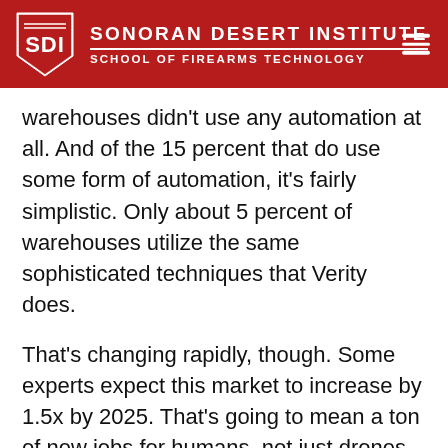SONORAN DESERT INSTITUTE | SCHOOL OF FIREARMS TECHNOLOGY
warehouses didn't use any automation at all. And of the 15 percent that do use some form of automation, it's fairly simplistic. Only about 5 percent of warehouses utilize the same sophisticated techniques that Verity does.
That's changing rapidly, though. Some experts expect this market to increase by 1.5x by 2025. That's going to mean a ton of new jobs for humans, not just drones. In fact, some sources believe that the UAV industry may usher in up to 100,000 new jobs by 2025.
Are you interested in pursuing a career in the